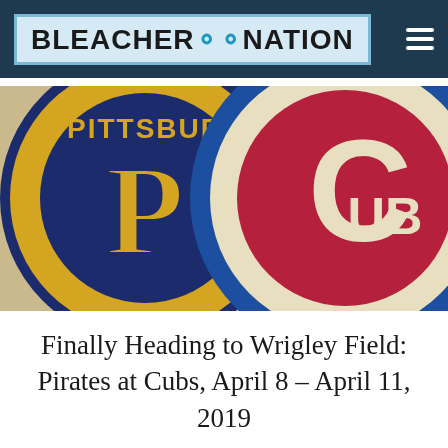BLEACHER:NATION
[Figure (illustration): Side-by-side Pittsburgh Pirates and Chicago Cubs baseball team logos. Left half shows the gold Pirates logo with a large 'P' on a navy blue circular background with 'PITTSBUR' text visible at top. Right half shows the Cubs logo with a red circle containing 'UB' letters on a cream/tan background with a blue outer ring.]
Finally Heading to Wrigley Field: Pirates at Cubs, April 8 – April 11, 2019